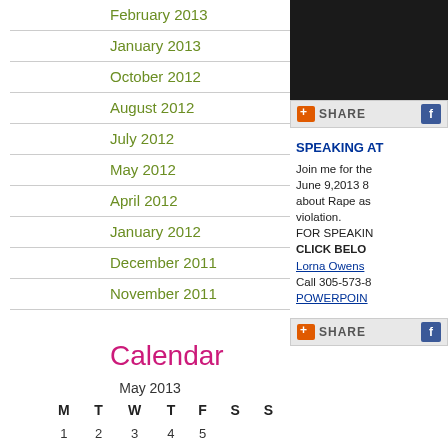February 2013
January 2013
October 2012
August 2012
July 2012
May 2012
April 2012
January 2012
December 2011
November 2011
Calendar
| M | T | W | T | F | S | S |
| --- | --- | --- | --- | --- | --- | --- |
| 1 | 2 | 3 | 4 | 5 |
[Figure (photo): Black image placeholder in top right]
SHARE
SPEAKING AT
Join me for the June 9,2013 8 about Rape as violation.
FOR SPEAKING CLICK BELOW Lorna Owens Call 305-573-8 POWERPOINT
SHARE